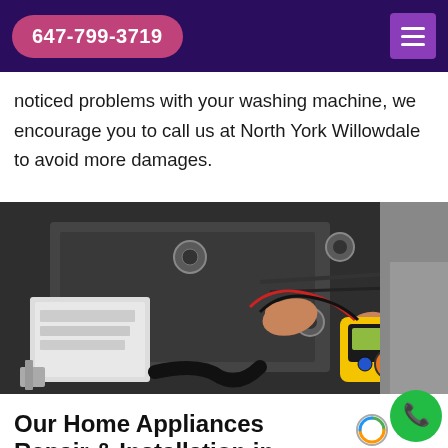647-799-3719
noticed problems with your washing machine, we encourage you to call us at North York Willowdale to avoid more damages.
[Figure (photo): A technician holding a yellow multimeter/voltage tester, working on the internal components of a washing machine, with wires and mechanical parts visible.]
Our Home Appliances Repair & Installation in Willowdale